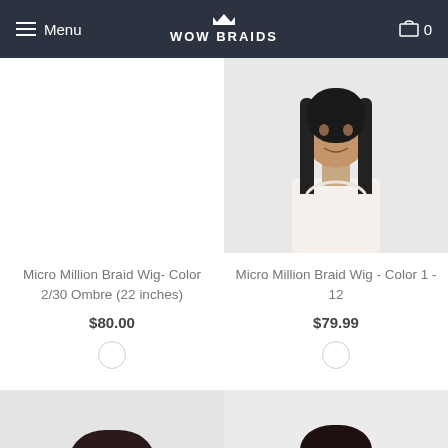Menu | WOW BRAIDS | Cart 0
[Figure (photo): Product photo slot 1 (left, top row) - empty/white]
[Figure (photo): Product photo of woman with long straight dark hair wearing white top - Micro Million Braid Wig Color 1-12]
Micro Million Braid Wig- Color 2/30 Ombre (22 inches)
$80.00
Micro Million Braid Wig - Color 1 - 12
$79.99
[Figure (photo): Partial product photo bottom left - woman with dark hair]
[Figure (photo): Partial product photo bottom right - woman with long straight dark hair]